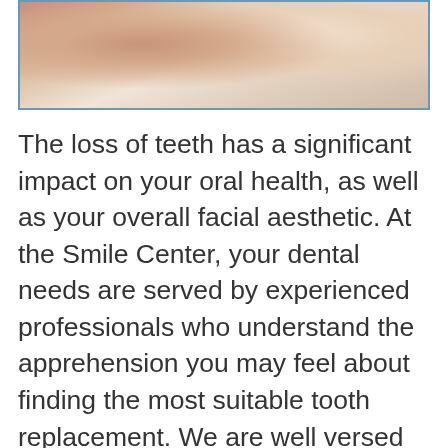[Figure (photo): Close-up photo of dental/medical scene with skin tones, appears to show a dental examination or tooth-related imagery with beige and peach colors.]
The loss of teeth has a significant impact on your oral health, as well as your overall facial aesthetic. At the Smile Center, your dental needs are served by experienced professionals who understand the apprehension you may feel about finding the most suitable tooth replacement. We are well versed in finding solutions to your dental problems, including the loss of teeth due to poor oral health, even advanced gum disease.
As we grow older, we may develop dental issues that lead to the loss or removal of